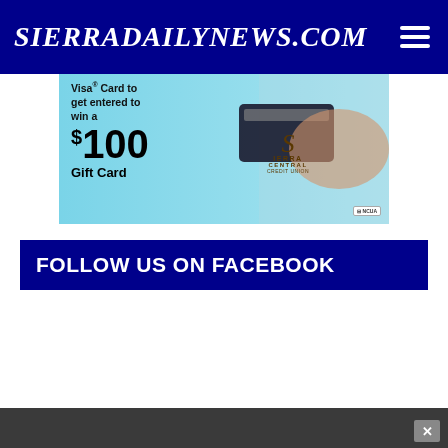SierraDailyNews.com
[Figure (photo): Advertisement banner for Sierra Central Credit Union showing a hand holding a Visa card, text reading 'Visa card to get entered to win a $100 Gift Card' with Sierra Central Credit Union logo on a light blue background]
FOLLOW US ON FACEBOOK